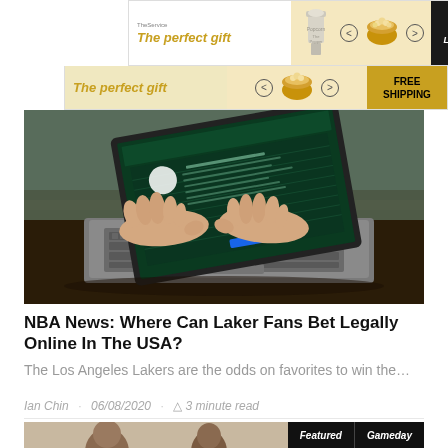[Figure (screenshot): Advertisement banner: 'The perfect gift' with bowl image, navigation arrows, '35% OFF' badge and 'Lakers News' button on dark background]
[Figure (photo): Person's hands typing on a MacBook laptop with a sports betting website visible on screen, placed on a wooden table]
NBA News: Where Can Laker Fans Bet Legally Online In The USA?
The Los Angeles Lakers are the odds on favorites to win the...
Ian Chin · 06/08/2020 · 3 minute read
[Figure (photo): Bottom strip showing two people's faces and 'Featured' and 'Gameday' category tags on dark background]